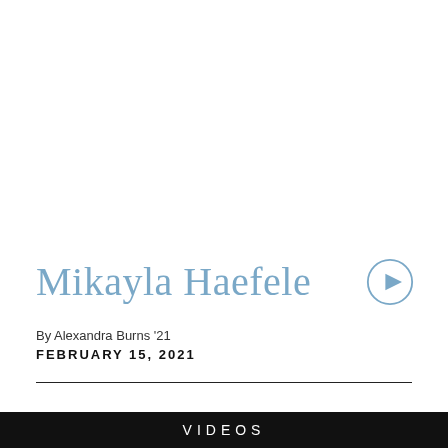Mikayla Haefele
By Alexandra Burns '21
FEBRUARY 15, 2021
VIDEOS